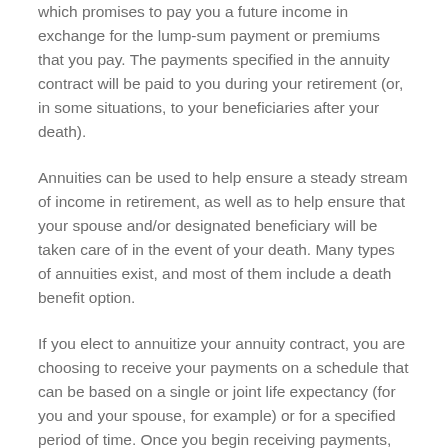which promises to pay you a future income in exchange for the lump-sum payment or premiums that you pay. The payments specified in the annuity contract will be paid to you during your retirement (or, in some situations, to your beneficiaries after your death).
Annuities can be used to help ensure a steady stream of income in retirement, as well as to help ensure that your spouse and/or designated beneficiary will be taken care of in the event of your death. Many types of annuities exist, and most of them include a death benefit option.
If you elect to annuitize your annuity contract, you are choosing to receive your payments on a schedule that can be based on a single or joint life expectancy (for you and your spouse, for example) or for a specified period of time. Once you begin receiving payments, most annuity contracts do not allow money to be paid to your heirs, other than your